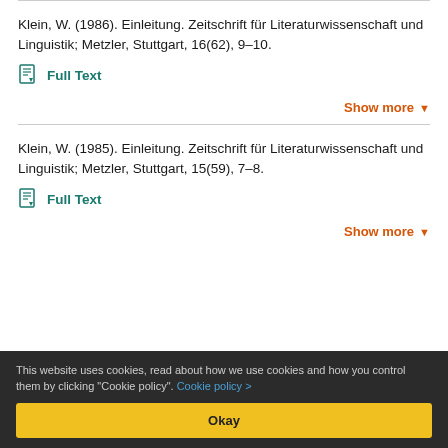Klein, W. (1986). Einleitung. Zeitschrift für Literaturwissenschaft und Linguistik; Metzler, Stuttgart, 16(62), 9–10.
Full Text
Show more
Klein, W. (1985). Einleitung. Zeitschrift für Literaturwissenschaft und Linguistik; Metzler, Stuttgart, 15(59), 7–8.
Full Text
Show more
This website uses cookies, read about how we use cookies and how you control them by clicking "Cookie policy". Cookie policy > Okay